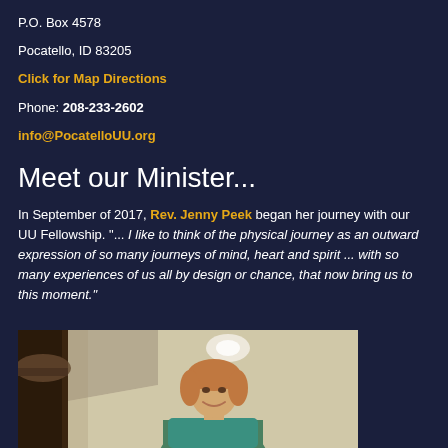P.O. Box 4578
Pocatello, ID 83205
Click for Map Directions
Phone: 208-233-2602
info@PocatelloUU.org
Meet our Minister...
In September of 2017, Rev. Jenny Peek began her journey with our UU Fellowship. "... I like to think of the physical journey as an outward expression of so many journeys of mind, heart and spirit ... with so many experiences of us all by design or chance, that now bring us to this moment."
[Figure (photo): Photo of Rev. Jenny Peek smiling inside a room with a decorative column and ceiling light visible in the background.]